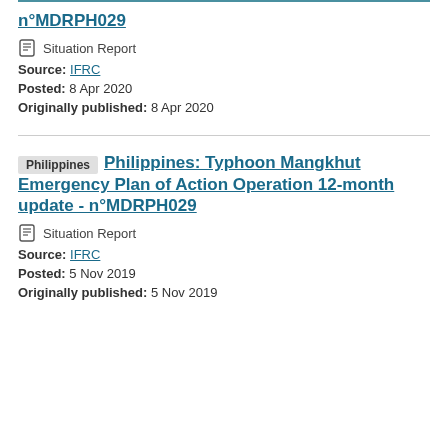n°MDRPH029
Situation Report
Source: IFRC
Posted: 8 Apr 2020
Originally published: 8 Apr 2020
Philippines: Typhoon Mangkhut Emergency Plan of Action Operation 12-month update - n°MDRPH029
Situation Report
Source: IFRC
Posted: 5 Nov 2019
Originally published: 5 Nov 2019